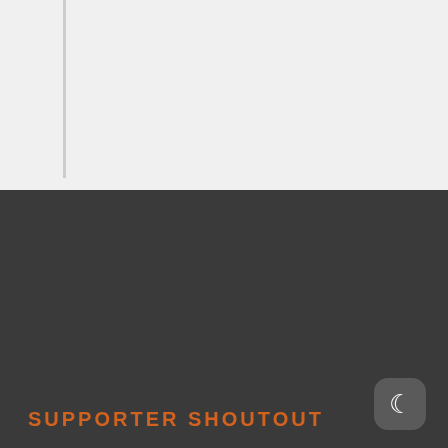[Figure (other): Gray background top section with left vertical border line]
SUPPORTER SHOUTOUT
[Figure (photo): BerkshireGinsberg Bicycle Attorney advertisement showing a cyclist wearing a helmet in black and white photo with red background and white text]
[Figure (other): Second advertisement card, white background, partially visible at bottom]